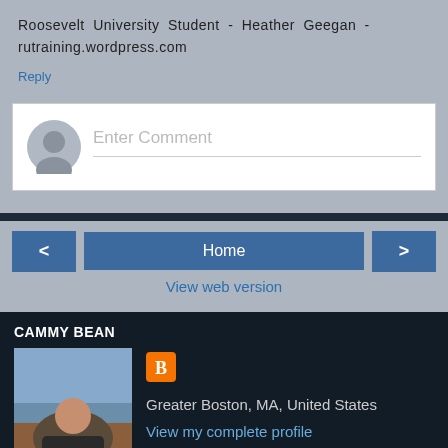Roosevelt University Student - Heather Geegan - rutraining.wordpress.com
Reply
Enter Comment
Home
View web version
CAMMY BEAN
[Figure (photo): Profile photo of Cammy Bean]
Greater Boston, MA, United States
View my complete profile
Powered by Blogger.